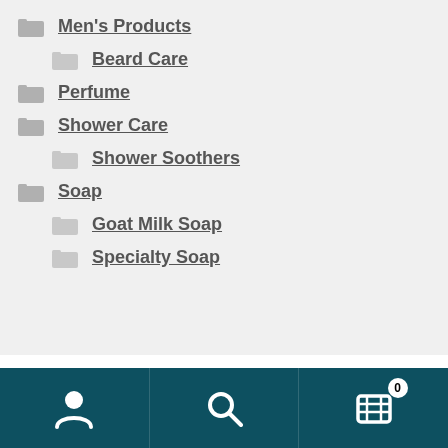Men's Products
Beard Care
Perfume
Shower Care
Shower Soothers
Soap
Goat Milk Soap
Specialty Soap
[Figure (logo): Partial logo text 'Hsce' in large serif black font]
User icon | Search icon | Cart icon with badge 0